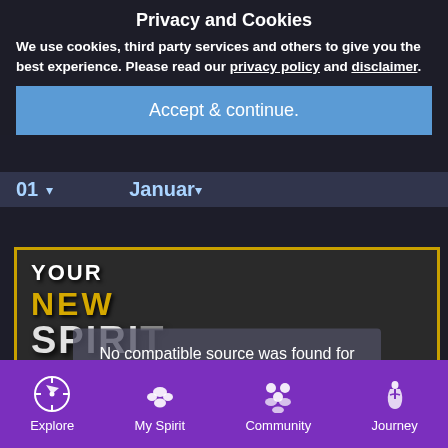Privacy and Cookies
We use cookies, third party services and others to give you the best experience. Please read our privacy policy and disclaimer.
Accept & continue.
01
Januar
Details about Lion ›
[Figure (screenshot): Video player showing 'YOUR NEW SPIRIT ANIMAL' with a wolf-like spirit animal image. Overlay says 'No compatible source was found for this media.' with an X close button.]
Find Your Spirit Animal | A NEW Jo...
[Figure (photo): Blue gradient image with a shark fin silhouette]
Explore
My Spirit
Community
Journey